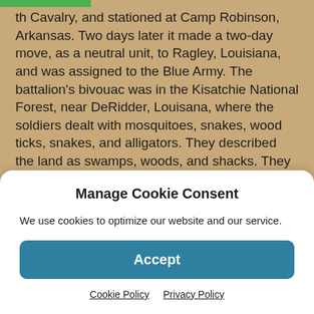th Cavalry, and stationed at Camp Robinson, Arkansas. Two days later it made a two-day move, as a neutral unit, to Ragley, Louisiana, and was assigned to the Blue Army. The battalion's bivouac was in the Kisatchie National Forest, near DeRidder, Louisana, where the soldiers dealt with mosquitoes, snakes, wood ticks, snakes, and alligators. They described the land as swamps, woods, and shacks. They also heard they were going to North Carolina on October 6th.
While training at Ft. Knox, the tankers were taught that they should never attack an anti-tank gun head-on. One
Manage Cookie Consent
We use cookies to optimize our website and our service.
Accept
Cookie Policy   Privacy Policy